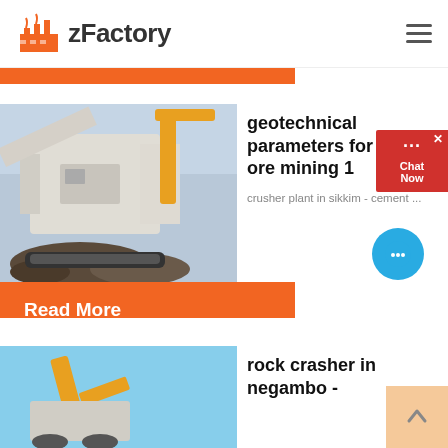zFactory
[Figure (photo): Industrial crushing/mining machine equipment on a construction site with crane and rocks]
geotechnical parameters for iron ore mining 1
crusher plant in sikkim - cement ...
Read More
[Figure (photo): Excavator/rock crushing equipment against blue sky - partial view at bottom]
rock crasher in negambo -